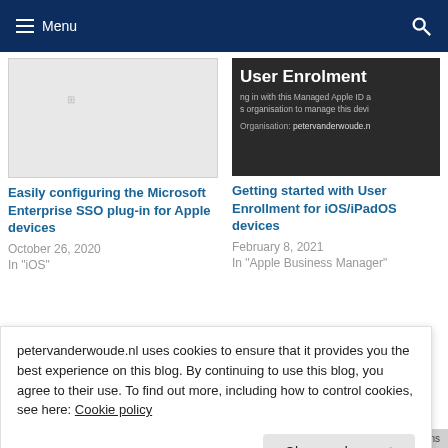Menu
[Figure (screenshot): Screenshot thumbnail showing Microsoft SSO plugin UI, light gray background with small logo]
Easily configuring the Microsoft Enterprise SSO plug-in for Apple devices
October 26, 2020
In "iOS"
[Figure (screenshot): Screenshot thumbnail showing User Enrolment dialog — dark background with white 'User Enrolment' heading, text about Managed Apple ID, Organisation: petervanderwoude.n...]
Getting started with User Enrollment for iOS/iPadOS devices
February 8, 2021
In "Apple Business Manager"
petervanderwoude.nl uses cookies to ensure that it provides you the best experience on this blog. By continuing to use this blog, you agree to their use. To find out more, including how to control cookies, see here: Cookie policy
Close and accept
Further Integrating Apple Business Manager with Microsoft Intune